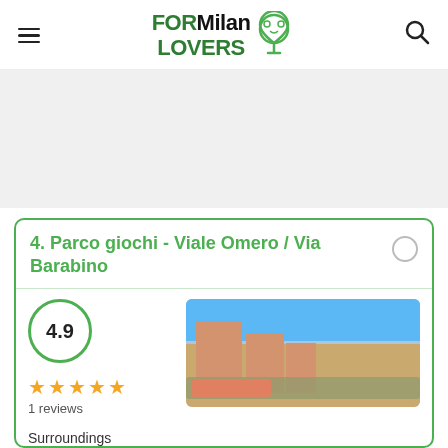FORMilan LOVERS
[Figure (screenshot): Advertisement / banner area (gray background)]
4. Parco giochi - Viale Omero / Via Barabino
[Figure (infographic): Rating: 4.9 stars, 1 reviews, with 5-star icons. Photo of park with apartment buildings in background.]
Surroundings